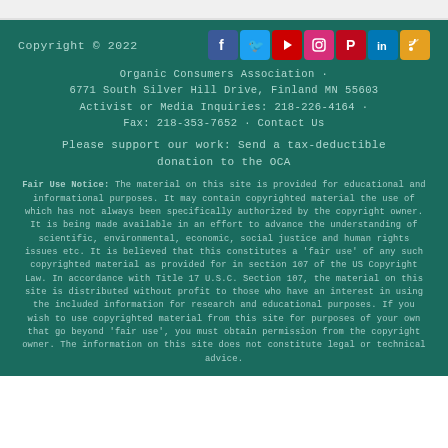Copyright © 2022
Organic Consumers Association · 6771 South Silver Hill Drive, Finland MN 55603 Activist or Media Inquiries: 218-226-4164 · Fax: 218-353-7652 · Contact Us
Please support our work: Send a tax-deductible donation to the OCA
Fair Use Notice: The material on this site is provided for educational and informational purposes. It may contain copyrighted material the use of which has not always been specifically authorized by the copyright owner. It is being made available in an effort to advance the understanding of scientific, environmental, economic, social justice and human rights issues etc. It is believed that this constitutes a 'fair use' of any such copyrighted material as provided for in section 107 of the US Copyright Law. In accordance with Title 17 U.S.C. Section 107, the material on this site is distributed without profit to those who have an interest in using the included information for research and educational purposes. If you wish to use copyrighted material from this site for purposes of your own that go beyond 'fair use', you must obtain permission from the copyright owner. The information on this site does not constitute legal or technical advice.